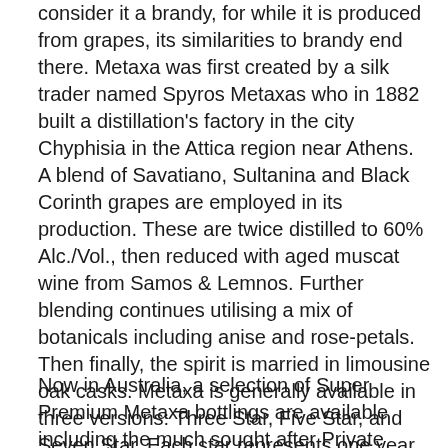consider it a brandy, for while it is produced from grapes, its similarities to brandy end there. Metaxa was first created by a silk trader named Spyros Metaxas who in 1882 built a distillation's factory in the city Chyphisia in the Attica region near Athens. A blend of Savatiano, Sultanina and Black Corinth grapes are employed in its production. These are twice distilled to 60% Alc./Vol., then reduced with aged muscat wine from Samos & Lemnos. Further blending continues utilising a mix of botanicals including anise and rose-petals. Then finally, the spirit is married in limousine oak casks. Metaxa is generally available in three versions: Three Star, Five Star, and Seven Star. Each star represents one year spent in oak. The product has earned world recognition for its quality, colour and taste and is distinguished as the most famous Greek spirit worldwide, over and above ouzo.
Now in Australia, a selection of Super Premium Metaxa bottlings are available including the much sought after Private Reserve. This limited production spirit consists of